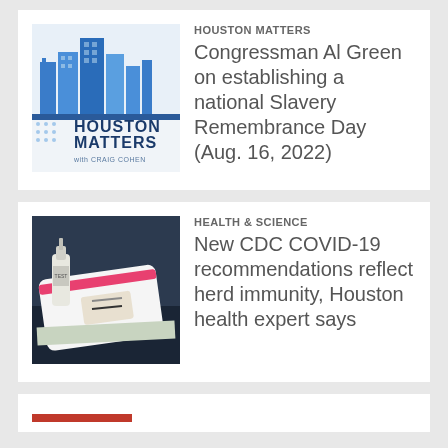[Figure (logo): Houston Matters with Craig Cohen podcast logo — blue cityscape with orange triangle, dark blue text]
HOUSTON MATTERS
Congressman Al Green on establishing a national Slavery Remembrance Day (Aug. 16, 2022)
[Figure (photo): COVID-19 rapid antigen test kit with dropper bottle on dark surface]
HEALTH & SCIENCE
New CDC COVID-19 recommendations reflect herd immunity, Houston health expert says